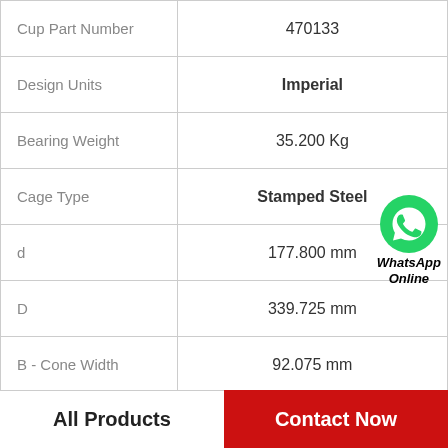| Property | Value |
| --- | --- |
| Cup Part Number | 470133 |
| Design Units | Imperial |
| Bearing Weight | 35.200 Kg |
| Cage Type | Stamped Steel |
| d | 177.800 mm |
| D | 339.725 mm |
| B - Cone Width | 92.075 mm |
| C - Cup Width | 63.500 mm |
|  |  |
All Products
Contact Now